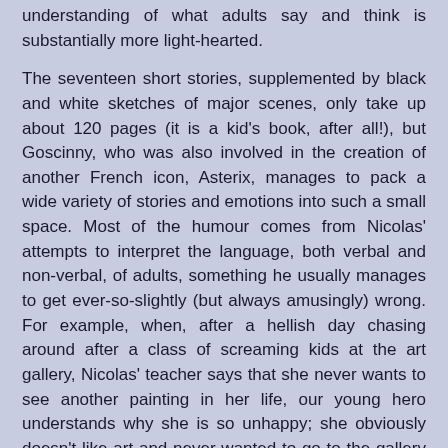understanding of what adults say and think is substantially more light-hearted.
The seventeen short stories, supplemented by black and white sketches of major scenes, only take up about 120 pages (it is a kid's book, after all!), but Goscinny, who was also involved in the creation of another French icon, Asterix, manages to pack a wide variety of stories and emotions into such a small space. Most of the humour comes from Nicolas' attempts to interpret the language, both verbal and non-verbal, of adults, something he usually manages to get ever-so-slightly (but always amusingly) wrong. For example, when, after a hellish day chasing around after a class of screaming kids at the art gallery, Nicolas' teacher says that she never wants to see another painting in her life, our young hero understands why she is so unhappy; she obviously doesn't like art and never wanted to go to the gallery in the first place. Nicolas also shows himself to be very trusting of what his parents tell him; he talks about a present his father received from his mother, a green-and-red tie which he never wears because he doesn't want to get it dirty...